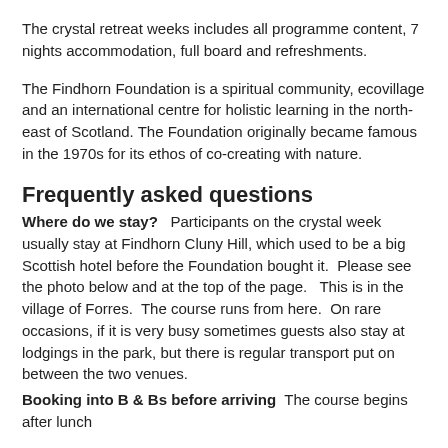The crystal retreat weeks includes all programme content, 7 nights accommodation, full board and refreshments.
The Findhorn Foundation is a spiritual community, ecovillage and an international centre for holistic learning in the north-east of Scotland. The Foundation originally became famous in the 1970s for its ethos of co-creating with nature.
Frequently asked questions
Where do we stay?   Participants on the crystal week usually stay at Findhorn Cluny Hill, which used to be a big Scottish hotel before the Foundation bought it.  Please see the photo below and at the top of the page.   This is in the village of Forres.  The course runs from here.  On rare occasions, if it is very busy sometimes guests also stay at lodgings in the park, but there is regular transport put on between the two venues.
Booking into B & Bs before arriving  The course begins after lunch